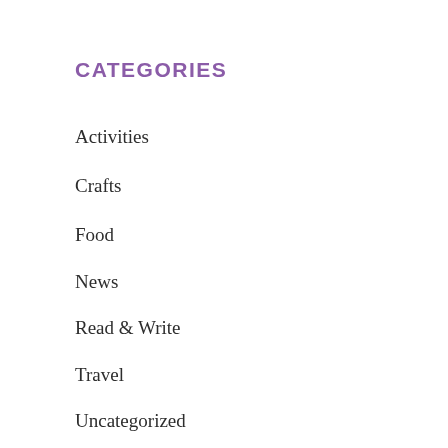CATEGORIES
Activities
Crafts
Food
News
Read & Write
Travel
Uncategorized
RECENT POSTS
[Figure (other): Scroll-to-top arrow button, dark circular icon with upward arrow]
[Figure (other): Google reCAPTCHA widget overlay with Privacy and Terms text]